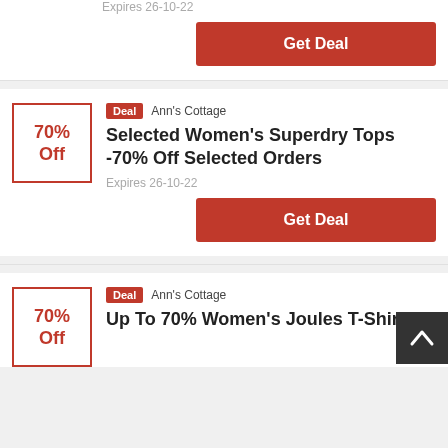Expires 26-10-22
Get Deal
Deal  Ann's Cottage
Selected Women's Superdry Tops -70% Off Selected Orders
70% Off
Expires 26-10-22
Get Deal
Deal  Ann's Cottage
Up To 70% Women's Joules T-Shirts
70% Off